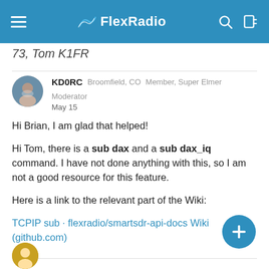FlexRadio
73, Tom K1FR
KD0RC  Broomfield, CO  Member, Super Elmer  Moderator
May 15

Hi Brian, I am glad that helped!

Hi Tom, there is a sub dax and a sub dax_iq command. I have not done anything with this, so I am not a good resource for this feature.

Here is a link to the relevant part of the Wiki:

TCPIP sub · flexradio/smartsdr-api-docs Wiki (github.com)